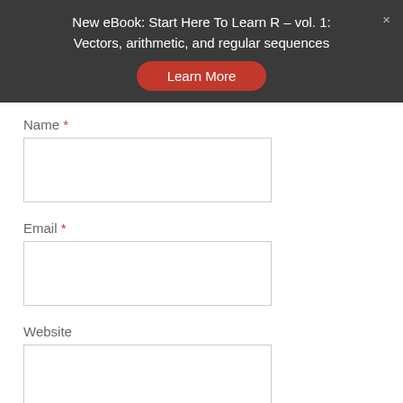New eBook: Start Here To Learn R – vol. 1: Vectors, arithmetic, and regular sequences
Name *
Email *
Website